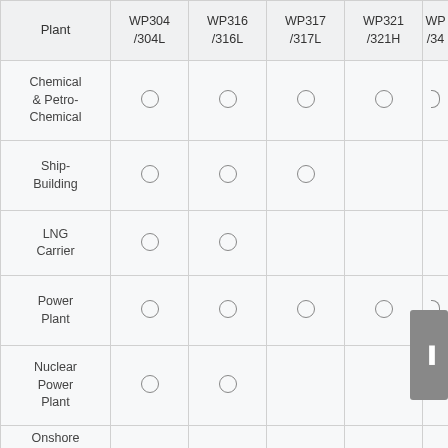| Plant | WP304/304L | WP316/316L | WP317/317L | WP321/321H | WP34... |
| --- | --- | --- | --- | --- | --- |
| Chemical & Petro-Chemical | ○ | ○ | ○ | ○ | ○ |
| Ship-Building | ○ | ○ | ○ |  |  |
| LNG Carrier | ○ | ○ |  |  |  |
| Power Plant | ○ | ○ | ○ | ○ | ○ |
| Nuclear Power Plant | ○ | ○ |  |  |  |
| Onshore |  |  |  |  |  |